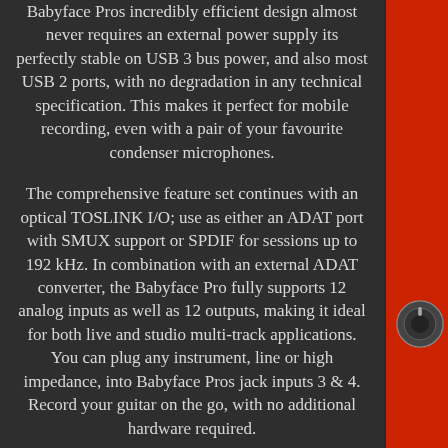Babyface Pros incredibly efficient design almost never requires an external power supply its perfectly stable on USB 3 bus power, and also most USB 2 ports, with no degradation in any technical specification. This makes it perfect for mobile recording, even with a pair of your favourite condenser microphones.
The comprehensive feature set continues with an optical TOSLINK I/O; use as either an ADAT port with SMUX support or SPDIF for sessions up to 192 kHz. In combination with an external ADAT converter, the Babyface Pro fully supports 12 analog inputs as well as 12 outputs, making it ideal for both live and studio multi-track applications. You can plug any instrument, line or high impedance, into Babyface Pros jack inputs 3 & 4. Record your guitar on the go, with no additional hardware required.
MIDI I/O via an included breakout cable completes the package. Straight to the core without interference: the reference design of the Babyface Pro leaves nothing to be desired. RME devices are
[Figure (photo): Red RME Babyface Pro audio interface device shown on the right side of the page, with a large silver knob visible]